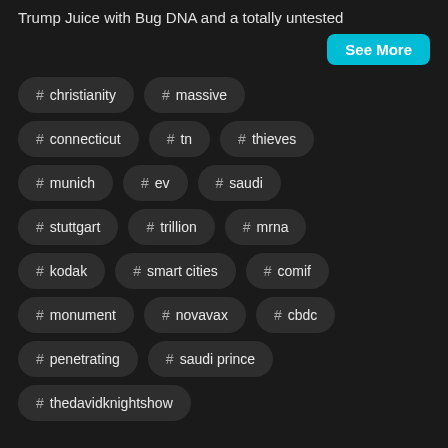Trump Juice with Bug DNA and a totally untested
See More
# christianity
# massive
# connecticut
# tn
# thieves
# munich
# ev
# saudi
# stuttgart
# trillion
# mrna
# kodak
# smart cities
# comif
# monument
# novavax
# cbdc
# penetrating
# saudi prince
# thedavidknightshow